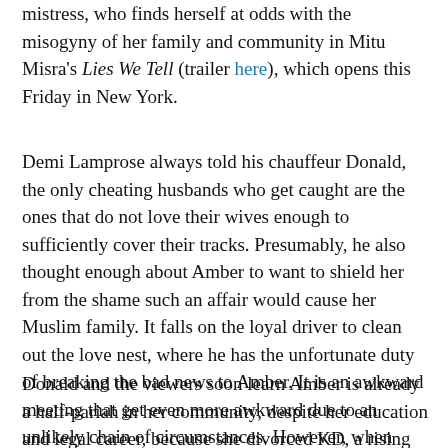mistress, who finds herself at odds with the misogyny of her family and community in Mitu Misra's Lies We Tell (trailer here), which opens this Friday in New York.
Demi Lamprose always told his chauffeur Donald, the only cheating husbands who get caught are the ones that do not love their wives enough to sufficiently cover their tracks. Presumably, he also thought enough about Amber to want to shield her from the shame such an affair would cause her Muslim family. It falls on the loyal driver to clean out the love nest, where he has the unfortunate duty of breaking the bad news to Amber. It is an awkward meeting that get even more awkward due to an unlikely chain of circumstances. However, when Amber reaches out, asking Donald to take care of some revealing photos on Lamprose's phone, trust starts to develop between the two.
Donald and the viewers soon learn Amber is already a half-pariah in her community, despite her education and legal career, because she divorced KD, a rising Bradford gangster she was forced to marry when she was sixteen. She certainly had her reasons. However, in an act of